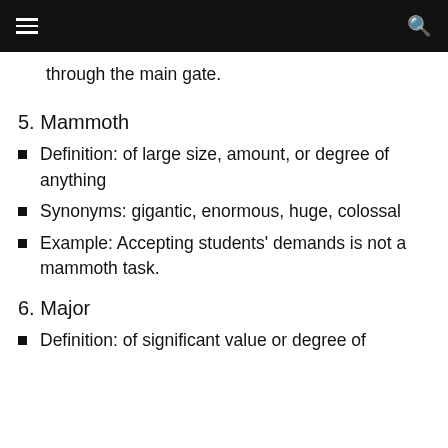through the main gate.
5. Mammoth
Definition: of large size, amount, or degree of anything
Synonyms: gigantic, enormous, huge, colossal
Example: Accepting students' demands is not a mammoth task.
6. Major
Definition: of significant value or degree of